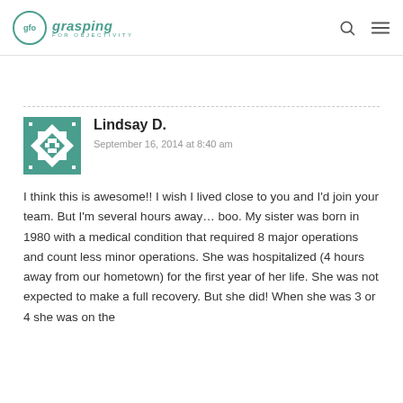gfo grasping FOR OBJECTIVITY
Lindsay D.
September 16, 2014 at 8:40 am
I think this is awesome!! I wish I lived close to you and I'd join your team. But I'm several hours away… boo. My sister was born in 1980 with a medical condition that required 8 major operations and count less minor operations. She was hospitalized (4 hours away from our hometown) for the first year of her life. She was not expected to make a full recovery. But she did! When she was 3 or 4 she was on the